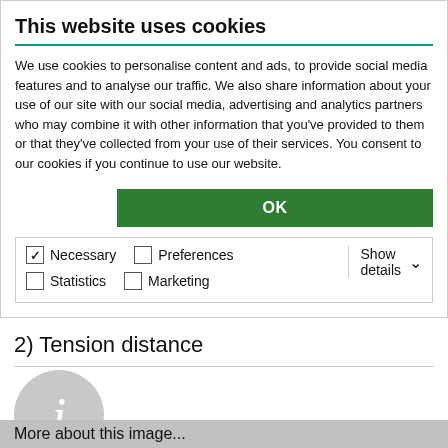This website uses cookies
We use cookies to personalise content and ads, to provide social media features and to analyse our traffic. We also share information about your use of our site with our social media, advertising and analytics partners who may combine it with other information that you've provided to them or that they've collected from your use of their services. You consent to our cookies if you continue to use our website.
OK
Necessary  Preferences  Statistics  Marketing  Show details
2) Tension distance
[Figure (illustration): Gray circle with italic lowercase letter i, representing an information icon]